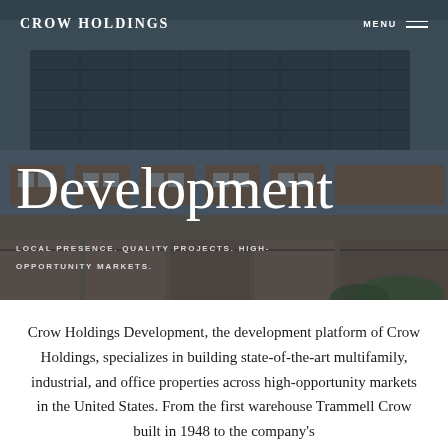Crow Holdings
[Figure (photo): Aerial/overhead view of multifamily residential buildings with dark roofing, balconies, and brick/tan facades, overlaid with a dark semi-transparent overlay]
Development
LOCAL PRESENCE. QUALITY PROJECTS. HIGH-OPPORTUNITY MARKETS.
Crow Holdings Development, the development platform of Crow Holdings, specializes in building state-of-the-art multifamily, industrial, and office properties across high-opportunity markets in the United States. From the first warehouse Trammell Crow built in 1948 to the company's